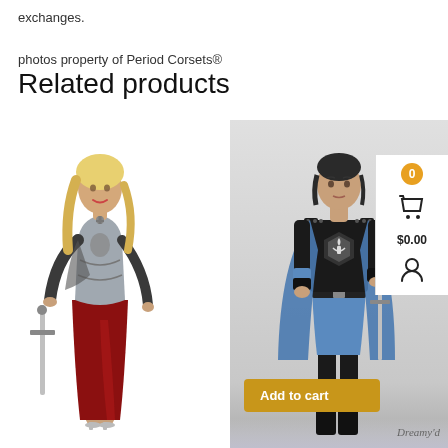exchanges.
photos property of Period Corsets®
Related products
[Figure (photo): Woman wearing a medieval warrior/knight costume with silver armor bodice, red skirt, and holding a sword. Blonde hair, red lips.]
[Figure (photo): Man wearing a dark knight/gladiator costume with blue cape, shield emblem on chest, holding a sword. Dark hair.]